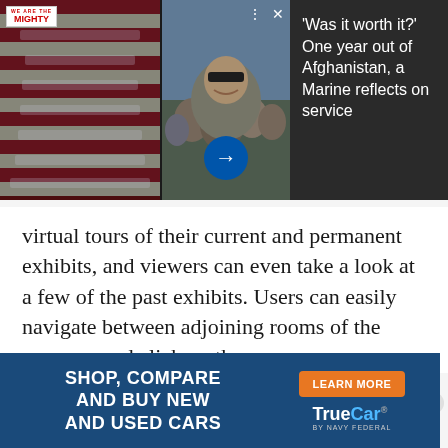[Figure (photo): Split article card with two photos: left showing flag-draped coffins in a military aircraft, right showing a military service member selfie with family. Dark right panel shows article headline text. WE ARE THE MIGHTY logo top-left.]
'Was it worth it?' One year out of Afghanistan, a Marine reflects on service
virtual tours of their current and permanent exhibits, and viewers can even take a look at a few of the past exhibits. Users can easily navigate between adjoining rooms of the museum and click on the camera
[Figure (infographic): Advertisement banner for TrueCar by Navy Federal. Blue background with text: SHOP, COMPARE AND BUY NEW AND USED CARS. Orange LEARN MORE button and TrueCar by Navy Federal logo on the right.]